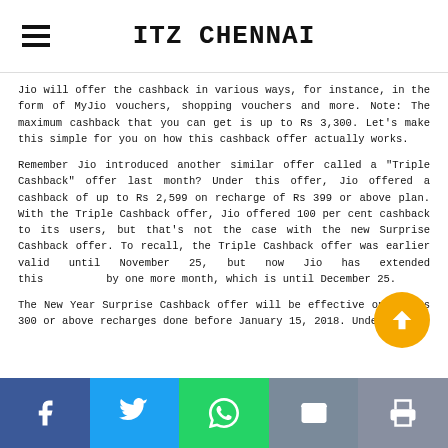ITZ CHENNAI
Jio will offer the cashback in various ways, for instance, in the form of MyJio vouchers, shopping vouchers and more. Note: The maximum cashback that you can get is up to Rs 3,300. Let's make this simple for you on how this cashback offer actually works.
Remember Jio introduced another similar offer called a "Triple Cashback" offer last month? Under this offer, Jio offered a cashback of up to Rs 2,599 on recharge of Rs 399 or above plan. With the Triple Cashback offer, Jio offered 100 per cent cashback to its users, but that's not the case with the new Surprise Cashback offer. To recall, the Triple Cashback offer was earlier valid until November 25, but now Jio has extended this by one more month, which is until December 25.
The New Year Surprise Cashback offer will be effective on all Rs 300 or above recharges done before January 15, 2018. Under Rs